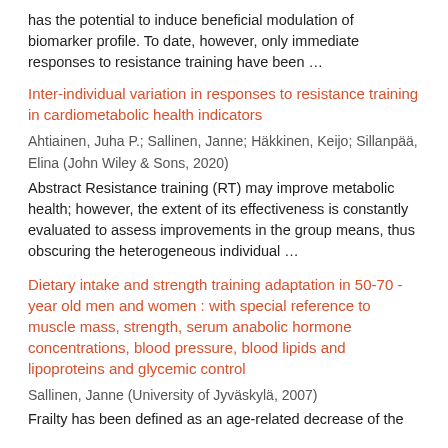has the potential to induce beneficial modulation of biomarker profile. To date, however, only immediate responses to resistance training have been …
Inter-individual variation in responses to resistance training in cardiometabolic health indicators
Ahtiainen, Juha P.; Sallinen, Janne; Häkkinen, Keijo; Sillanpää, Elina (John Wiley & Sons, 2020)
Abstract Resistance training (RT) may improve metabolic health; however, the extent of its effectiveness is constantly evaluated to assess improvements in the group means, thus obscuring the heterogeneous individual …
Dietary intake and strength training adaptation in 50-70 - year old men and women : with special reference to muscle mass, strength, serum anabolic hormone concentrations, blood pressure, blood lipids and lipoproteins and glycemic control
Sallinen, Janne (University of Jyväskylä, 2007)
Frailty has been defined as an age-related decrease of the